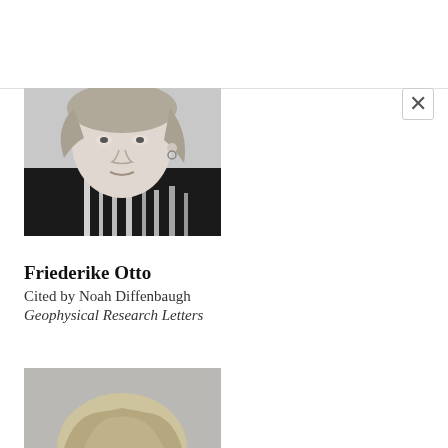[Figure (photo): Black and white portrait photograph of Friederike Otto, showing her face and upper body wearing a striped shirt, looking slightly to the side]
Friederike Otto
Cited by Noah Diffenbaugh
Geophysical Research Letters
[Figure (photo): Black and white portrait photograph of another person, partially visible at the bottom of the page, showing top of head with blonde hair]